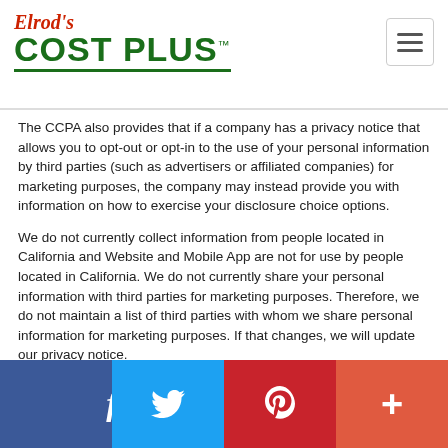Elrod's COST PLUS™
The CCPA also provides that if a company has a privacy notice that allows you to opt-out or opt-in to the use of your personal information by third parties (such as advertisers or affiliated companies) for marketing purposes, the company may instead provide you with information on how to exercise your disclosure choice options.
We do not currently collect information from people located in California and Website and Mobile App are not for use by people located in California. We do not currently share your personal information with third parties for marketing purposes. Therefore, we do not maintain a list of third parties with whom we share personal information for marketing purposes. If that changes, we will update our privacy notice.
YOUR NEVADA PRIVACY RIGHTS
[Figure (infographic): Social sharing buttons bar: Facebook (dark blue), Twitter (light blue), Pinterest (red), and a Plus/More button (orange-red)]